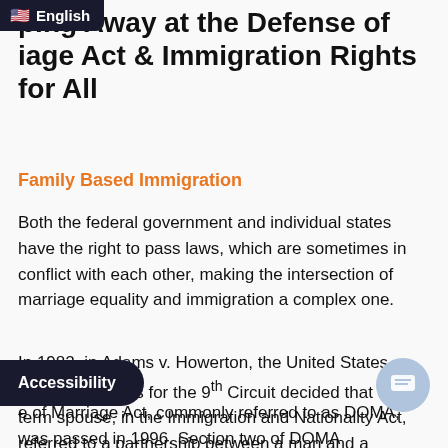English
Chipping Away at the Defense of Marriage Act & Immigration Rights for All
Family Based Immigration
Both the federal government and individual states have the right to pass laws, which are sometimes in conflict with each other, making the intersection of marriage equality and immigration a complex one.
In 1982, in Adams v. Howerton, the United States Court of Appeals for the 9th Circuit decided that the term spouse, in the Immigration and Nationality Act, referred to a partnership between a man and a woman.
e of Marriage Act, commonly referred to as DOMA, was passed in 1996. Section two of DOMA